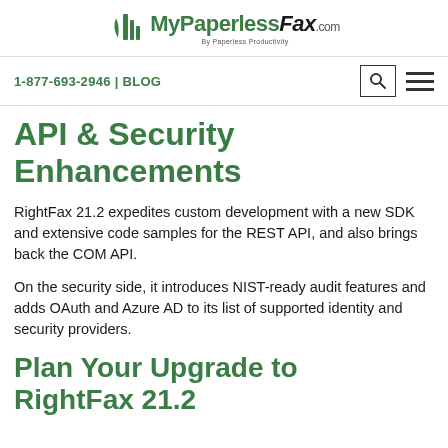MyPaperlessFax.com — By Paperless Productivity
1-877-693-2946 | BLOG
API & Security Enhancements
RightFax 21.2 expedites custom development with a new SDK and extensive code samples for the REST API, and also brings back the COM API.
On the security side, it introduces NIST-ready audit features and adds OAuth and Azure AD to its list of supported identity and security providers.
Plan Your Upgrade to RightFax 21.2